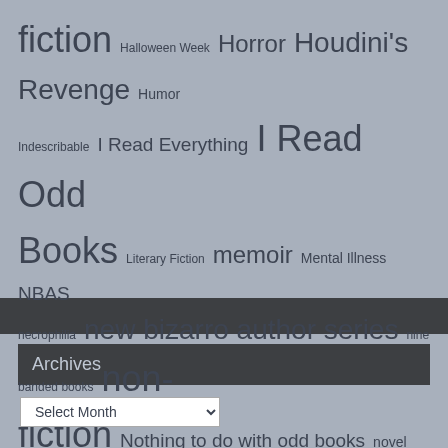[Figure (infographic): Tag cloud with various blog category terms displayed in different font sizes on a grey-blue background. Terms include: fiction, Halloween Week, Horror, Houdini's Revenge, Humor, Indescribable, I Read Everything, I Read Odd Books, Literary Fiction, memoir, Mental Illness, NBAS, necrophilia, new bizarro author series, nine banded books, non-fiction, Nothing to do with odd books, novel, Novella, oddtober, oddtober2019, Oddtober2020, Pornography, Psychology, Rachel Dolezal, reddit, Short Story Collection, Short Story Collections, Sociology, suicide, True Crime, Uncategorized, Zombies, Zombie Week]
Archives